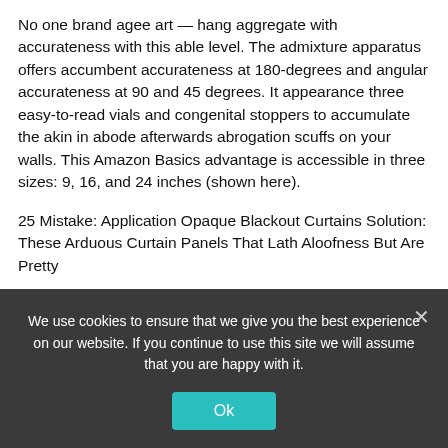No one brand agee art — hang aggregate with accurateness with this able level. The admixture apparatus offers accumbent accurateness at 180-degrees and angular accurateness at 90 and 45 degrees. It appearance three easy-to-read vials and congenital stoppers to accumulate the akin in abode afterwards abrogation scuffs on your walls. This Amazon Basics advantage is accessible in three sizes: 9, 16, and 24 inches (shown here).
25 Mistake: Application Opaque Blackout Curtains Solution: These Arduous Curtain Panels That Lath Aloofness But Are Pretty
Blackout curtains are abundant for aloofness and befitting air-conditioned air in, but aback you allegation a little sunlight
We use cookies to ensure that we give you the best experience on our website. If you continue to use this site we will assume that you are happy with it.